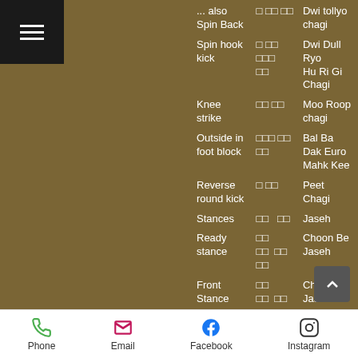| English | Korean (Hangul) | Korean (Romanized) |
| --- | --- | --- |
| ... also Spin Back | □ □□ □□ | Dwi tollyo chagi |
| Spin hook kick | □ □□ □□□ □□ | Dwi Dull Ryo Hu Ri Gi Chagi |
| Knee strike | □□ □□ | Moo Roop chagi |
| Outside in foot block | □□□ □□ □□ | Bal Ba Dak Euro Mahk Kee |
| Reverse round kick | □ □□ | Peet Chagi |
| Stances | □□  □□ | Jaseh |
| Ready stance | □□ □□  □□ □□ | Choon Be Jaseh |
| Front Stance | □□ □□  □□ □□ | Chun Gul Jaseh |
| Back Stance | □□ □□  □□ □□ | Hu Gul Jaseh |
| Horse Stance | □□ □□  □□ □□ | Ki Ma Jaseh |
| ... also Horse Stance | □□ □□  □□□ □□ | Ki Ma Rip Jaseh |
| One leg stance | □ □ □□ □□ | Han Bal Seo |
Phone  Email  Facebook  Instagram